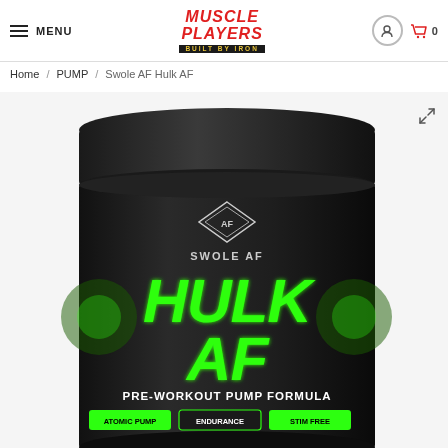MENU | MUSCLE PLAYERS BUILT BY IRON | [account icon] [cart icon] 0
Home / PUMP / Swole AF Hulk AF
[Figure (photo): Black cylindrical supplement container for 'Swole AF Hulk AF Pre-Workout Pump Formula' with green glowing 'HULK AF' text on the label, showing Swole AF diamond logo and badges for Atomic Pump, Endurance, Stim Free at the bottom.]